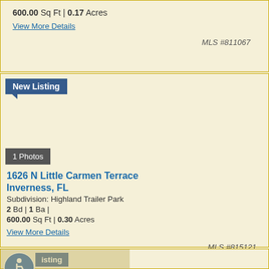600.00 Sq Ft | 0.17 Acres
View More Details
MLS #811067
[Figure (other): New Listing badge with blue background and downward pointer]
[Figure (photo): 1 Photos badge overlay on empty listing image area]
1626 N Little Carmen Terrace
$65,000
Inverness, FL
Subdivision: Highland Trailer Park
2 Bd | 1 Ba |
600.00 Sq Ft | 0.30 Acres
View More Details
MLS #815121
[Figure (photo): Accessibility icon and New Listing badge over property photo showing interior ceiling]
isting